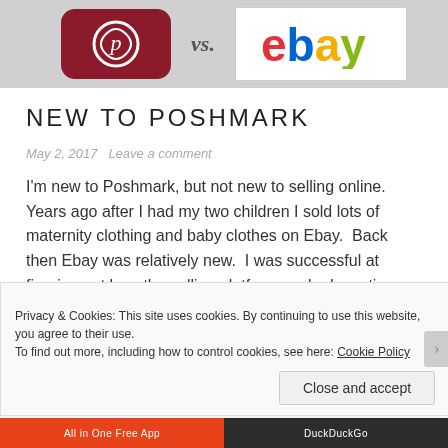[Figure (illustration): Top banner showing Poshmark logo (dark red square with white icon) on the left, 'vs.' text in the middle, and eBay logo (colorful letters on white background) on the right, against a gray background.]
NEW TO POSHMARK
May 2, 2017   Leave a comment
I'm new to Poshmark, but not new to selling online.  Years ago after I had my two children I sold lots of maternity clothing and baby clothes on Ebay.  Back then Ebay was relatively new.  I was successful at figuring out how the selling platform worked, posting, shipping, etc.  It was a
Privacy & Cookies: This site uses cookies. By continuing to use this website, you agree to their use.
To find out more, including how to control cookies, see here: Cookie Policy
Close and accept
[Figure (screenshot): Bottom bar showing 'All in One Free App' on orange background and 'DuckDuckGo' on dark background.]